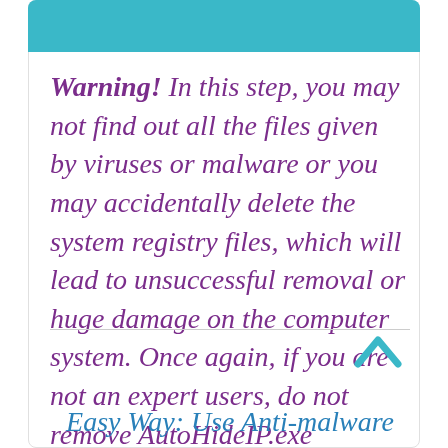Warning! In this step, you may not find out all the files given by viruses or malware or you may accidentally delete the system registry files, which will lead to unsuccessful removal or huge damage on the computer system. Once again, if you are not an expert users, do not remove AutoHideIP.exe manually.
Easy Way: Use Anti-malware